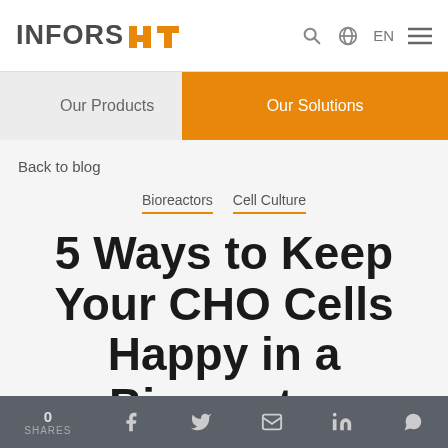INFORS HT — Our Products | Our Solutions EN
Back to blog
Bioreactors Cell Culture
5 Ways to Keep Your CHO Cells Happy in a Bioreactor
0 SHARES — social share icons: Facebook, Twitter, Email, LinkedIn, WhatsApp